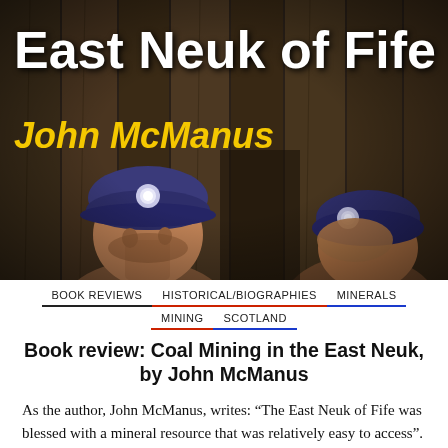[Figure (illustration): Book cover painting showing two coal miners wearing blue helmets with lamp lights, set against a dark background. Title 'East Neuk of Fife' in large white bold text and author 'John McManus' in italic yellow text overlaid on the painting.]
BOOK REVIEWS   HISTORICAL/BIOGRAPHIES   MINERALS   MINING   SCOTLAND
Book review: Coal Mining in the East Neuk, by John McManus
As the author, John McManus, writes: “The East Neuk of Fife was blessed with a mineral resource that was relatively easy to access”. This resource was coal – the driver of the industrial revolution and, even before